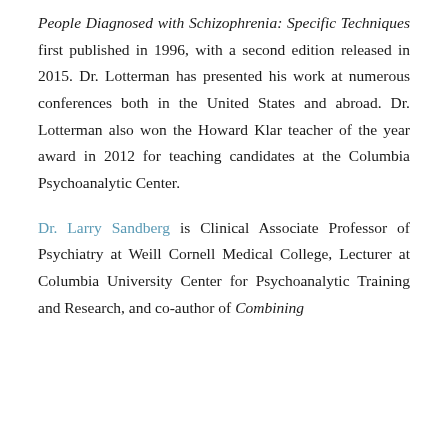People Diagnosed with Schizophrenia: Specific Techniques first published in 1996, with a second edition released in 2015. Dr. Lotterman has presented his work at numerous conferences both in the United States and abroad. Dr. Lotterman also won the Howard Klar teacher of the year award in 2012 for teaching candidates at the Columbia Psychoanalytic Center.
Dr. Larry Sandberg is Clinical Associate Professor of Psychiatry at Weill Cornell Medical College, Lecturer at Columbia University Center for Psychoanalytic Training and Research, and co-author of Combining